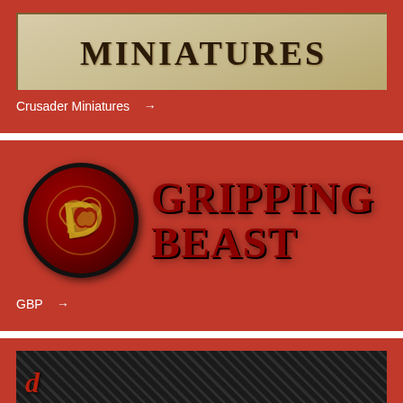[Figure (logo): Crusader Miniatures logo - stylized text in bordered box on parchment-colored background]
Crusader Miniatures →
[Figure (logo): Gripping Beast logo - circular medallion with gold dragon on dark red background, beside large red text 'GRIPPING BEAST']
GBP →
[Figure (logo): Partial view of a third logo on dark checkered background with red cursive script]